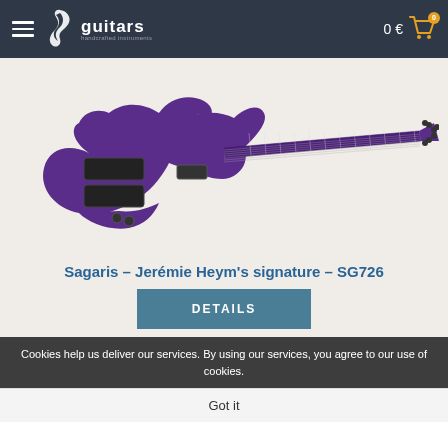SJ guitars — 0 € cart
[Figure (photo): Purple electric guitar (Sagaris SG726) with multi-string neck, black hardware, and ornate body shape, displayed on a light beige background.]
Sagaris – Jerémie Heym's signature – SG726
DETAILS
Cookies help us deliver our services. By using our services, you agree to our use of cookies.
Got it